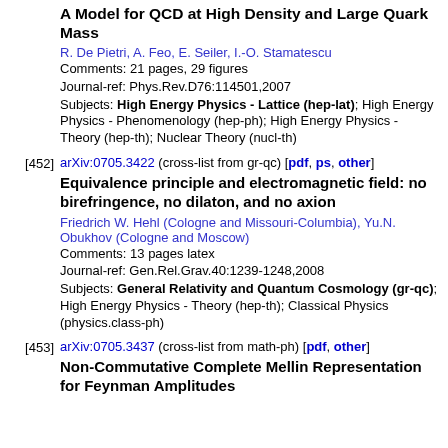A Model for QCD at High Density and Large Quark Mass
R. De Pietri, A. Feo, E. Seiler, I.-O. Stamatescu
Comments: 21 pages, 29 figures
Journal-ref: Phys.Rev.D76:114501,2007
Subjects: High Energy Physics - Lattice (hep-lat); High Energy Physics - Phenomenology (hep-ph); High Energy Physics - Theory (hep-th); Nuclear Theory (nucl-th)
[452] arXiv:0705.3422 (cross-list from gr-qc) [pdf, ps, other]
Equivalence principle and electromagnetic field: no birefringence, no dilaton, and no axion
Friedrich W. Hehl (Cologne and Missouri-Columbia), Yu.N. Obukhov (Cologne and Moscow)
Comments: 13 pages latex
Journal-ref: Gen.Rel.Grav.40:1239-1248,2008
Subjects: General Relativity and Quantum Cosmology (gr-qc); High Energy Physics - Theory (hep-th); Classical Physics (physics.class-ph)
[453] arXiv:0705.3437 (cross-list from math-ph) [pdf, other]
Non-Commutative Complete Mellin Representation for Feynman Amplitudes